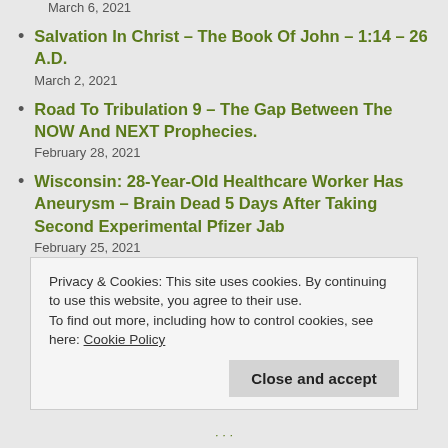March 6, 2021
Salvation In Christ – The Book Of John – 1:14 – 26 A.D.
March 2, 2021
Road To Tribulation 9 – The Gap Between The NOW And NEXT Prophecies.
February 28, 2021
Wisconsin: 28-Year-Old Healthcare Worker Has Aneurysm – Brain Dead 5 Days After Taking Second Experimental Pfizer Jab
February 25, 2021
Privacy & Cookies: This site uses cookies. By continuing to use this website, you agree to their use.
To find out more, including how to control cookies, see here: Cookie Policy
Close and accept